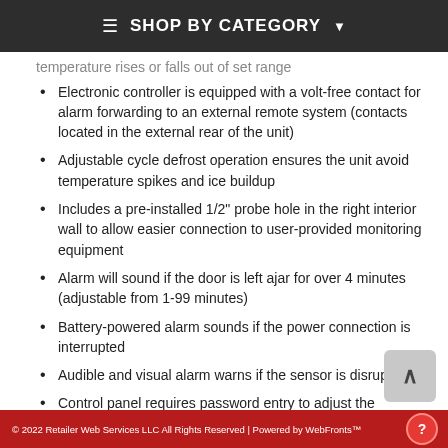≡  SHOP BY CATEGORY  ▾
temperature rises or falls out of set range
Electronic controller is equipped with a volt-free contact for alarm forwarding to an external remote system (contacts located in the external rear of the unit)
Adjustable cycle defrost operation ensures the unit avoid temperature spikes and ice buildup
Includes a pre-installed 1/2" probe hole in the right interior wall to allow easier connection to user-provided monitoring equipment
Alarm will sound if the door is left ajar for over 4 minutes (adjustable from 1-99 minutes)
Battery-powered alarm sounds if the power connection is interrupted
Audible and visual alarm warns if the sensor is disrupted
Control panel requires password entry to adjust the parameters beyond the set point
Digital controls with a large LED readout in Celsius
© 2022 Retailer Web Services LLC All Rights Reserved | Powered by WebFronts™